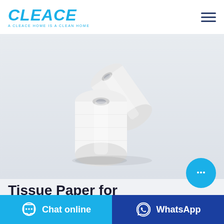[Figure (logo): CLEACE logo in bold italic blue text with tagline 'A CLEACE HOME IS A CLEAN HOME']
[Figure (photo): Two white tissue paper rolls against a light grey background]
Tissue Paper for Sale | Wholesale Tissue Paper
[Figure (other): Floating cyan chat bubble button with ellipsis icon]
[Figure (other): Bottom action bar with 'Chat online' button in cyan and 'WhatsApp' button in dark blue]